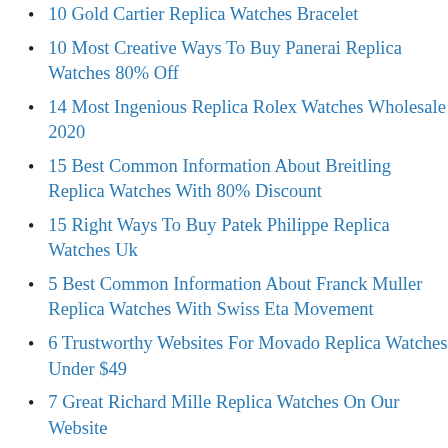10 Gold Cartier Replica Watches Bracelet
10 Most Creative Ways To Buy Panerai Replica Watches 80% Off
14 Most Ingenious Replica Rolex Watches Wholesale 2020
15 Best Common Information About Breitling Replica Watches With 80% Discount
15 Right Ways To Buy Patek Philippe Replica Watches Uk
5 Best Common Information About Franck Muller Replica Watches With Swiss Eta Movement
6 Trustworthy Websites For Movado Replica Watches Under $49
7 Great Richard Mille Replica Watches On Our Website